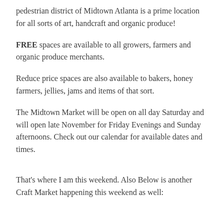pedestrian district of Midtown Atlanta is a prime location for all sorts of art, handcraft and organic produce!
FREE spaces are available to all growers, farmers and organic produce merchants.
Reduce price spaces are also available to bakers, honey farmers, jellies, jams and items of that sort.
The Midtown Market will be open on all day Saturday and will open late November for Friday Evenings and Sunday afternoons. Check out our calendar for available dates and times.
That's where I am this weekend. Also Below is another Craft Market happening this weekend as well: